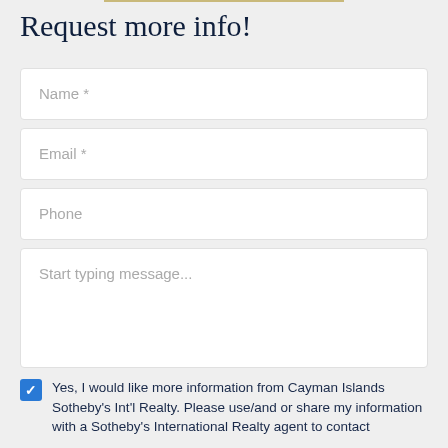Request more info!
Name *
Email *
Phone
Start typing message...
Yes, I would like more information from Cayman Islands Sotheby's Int'l Realty. Please use/and or share my information with a Sotheby's International Realty agent to contact